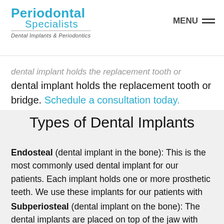Periodontal Specialists | Dental Implants & Periodontics | MENU
dental implant holds the replacement tooth or bridge. Schedule a consultation today.
Types of Dental Implants
Endosteal (dental implant in the bone): This is the most commonly used dental implant for our patients. Each implant holds one or more prosthetic teeth. We use these implants for our patients with bridges or removable dentures.
Subperiosteal (dental implant on the bone): The dental implants are placed on top of the jaw with